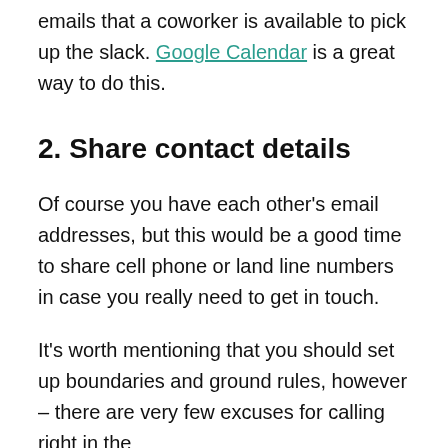emails that a coworker is available to pick up the slack. Google Calendar is a great way to do this.
2. Share contact details
Of course you have each other's email addresses, but this would be a good time to share cell phone or land line numbers in case you really need to get in touch.
It's worth mentioning that you should set up boundaries and ground rules, however – there are very few excuses for calling right in the